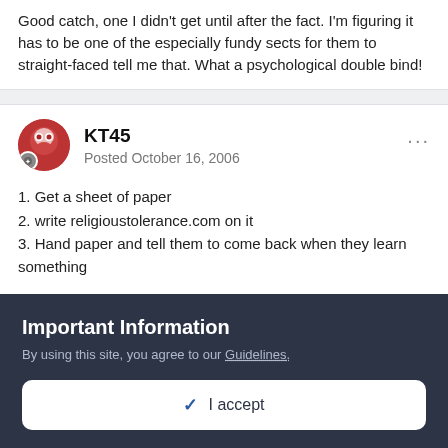Good catch, one I didn't get until after the fact. I'm figuring it has to be one of the especially fundy sects for them to straight-faced tell me that. What a psychological double bind!
KT45
Posted October 16, 2006
1. Get a sheet of paper
2. write religioustolerance.com on it
3. Hand paper and tell them to come back when they learn something
Important Information
By using this site, you agree to our Guidelines.
✓  I accept